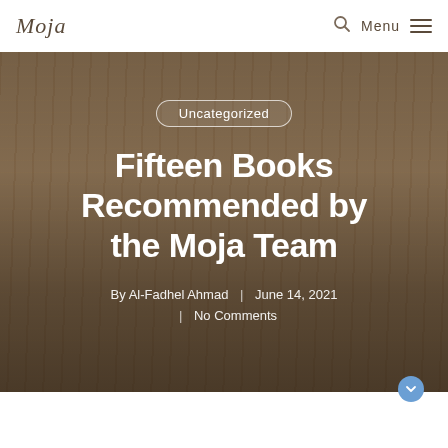Moja | Menu
[Figure (photo): Background photo of stacked books and an open book on a table, warm brown tones, bokeh effect]
Uncategorized
Fifteen Books Recommended by the Moja Team
By Al-Fadhel Ahmad | June 14, 2021 | No Comments